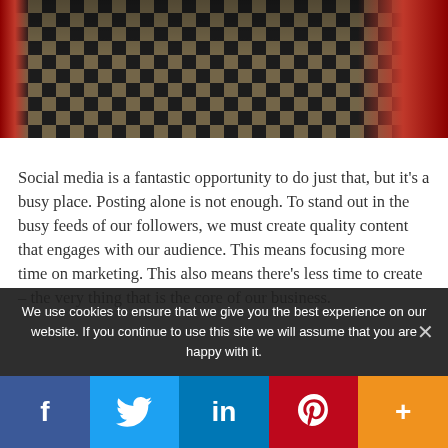[Figure (photo): Partially visible illustrated scene with a black-and-white checkered floor, dark red/maroon curtains on the sides, and a dark background, suggesting a theatrical or fantasy setting.]
Social media is a fantastic opportunity to do just that, but it's a busy place. Posting alone is not enough. To stand out in the busy feeds of our followers, we must create quality content that engages with our audience. This means focusing more time on marketing. This also means there's less time to create – the very thing that is the core of our business.
We use cookies to ensure that we give you the best experience on our website. If you continue to use this site we will assume that you are happy with it.